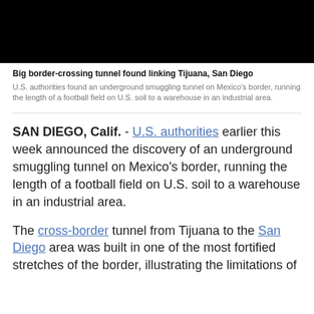[Figure (photo): Black rectangle representing a photograph (image content not visible)]
Big border-crossing tunnel found linking Tijuana, San Diego
U.S. authorities found an underground smuggling tunnel on Mexico's border, running the length of a football field on U.S. soil to a warehouse in an industrial area.
SAN DIEGO, Calif. - U.S. authorities earlier this week announced the discovery of an underground smuggling tunnel on Mexico's border, running the length of a football field on U.S. soil to a warehouse in an industrial area.
The cross-border tunnel from Tijuana to the San Diego area was built in one of the most fortified stretches of the border, illustrating the limitations of